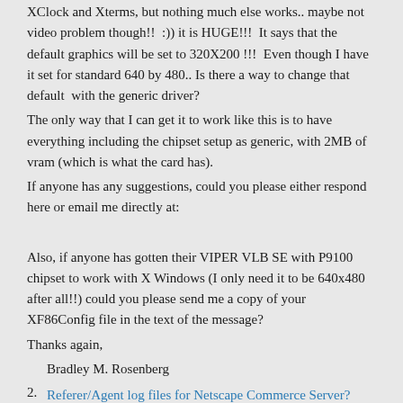XClock and Xterms, but nothing much else works.. maybe not video problem though!!  :)) it is HUGE!!!  It says that the default graphics will be set to 320X200 !!!  Even though I have it set for standard 640 by 480.. Is there a way to change that default  with the generic driver?
The only way that I can get it to work like this is to have everything including the chipset setup as generic, with 2MB of vram (which is what the card has).
If anyone has any suggestions, could you please either respond here or email me directly at:
Also, if anyone has gotten their VIPER VLB SE with P9100 chipset to work with X Windows (I only need it to be 640x480 after all!!) could you please send me a copy of your XF86Config file in the text of the message?
Thanks again,
Bradley M. Rosenberg
2. Referer/Agent log files for Netscape Commerce Server?
3. Diamond Viper SE VLB
4. "Tricking" AIX 4 install program...
5. diamond.viper.vlb (re) - help!